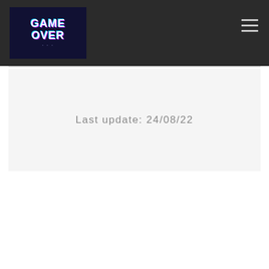Game Over - Last update: 24/08/22
[Figure (logo): Game Over logo: dark background with 'GAME' and 'OVER' text in white with glitch/neon effect]
Last update: 24/08/22